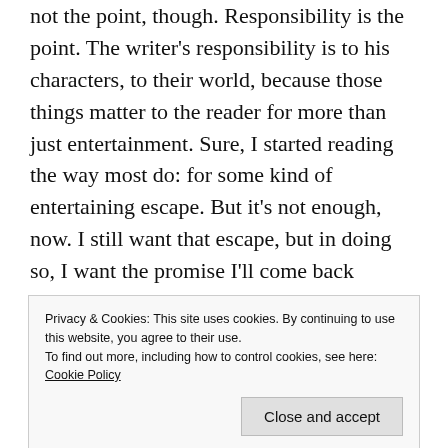not the point, though. Responsibility is the point. The writer's responsibility is to his characters, to their world, because those things matter to the reader for more than just entertainment. Sure, I started reading the way most do: for some kind of entertaining escape. But it's not enough, now. I still want that escape, but in doing so, I want the promise I'll come back changed. For me, the stories that make familiar things strange make that easier. Set a story in reality and embody it with surrealism, and I start to believe almost anything is possible. The human being in me loudly claims it knows what's real and what's not, but the storyteller/lover in
Privacy & Cookies: This site uses cookies. By continuing to use this website, you agree to their use.
To find out more, including how to control cookies, see here: Cookie Policy
(and readers) into an adventure of actual, possible mythic